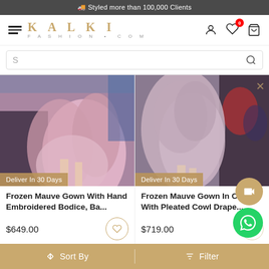🚚 Styled more than 100,000 Clients
[Figure (screenshot): Kalki Fashion website navigation bar with hamburger menu, KALKI FASHION.COM logo, user icon, wishlist icon with badge 0, and cart icon]
[Figure (screenshot): Search bar with placeholder 'S' and search icon]
[Figure (photo): Frozen Mauve Gown with pink flowing fabric on runway]
Deliver In 30 Days
Frozen Mauve Gown With Hand Embroidered Bodice, Ba...
$649.00
[Figure (photo): Frozen Mauve Gown In Crepe with pleated cowl drape on runway]
Deliver In 30 Days
Frozen Mauve Gown In Crepe With Pleated Cowl Drape...
$719.00
↕ Sort By   ≡ Filter